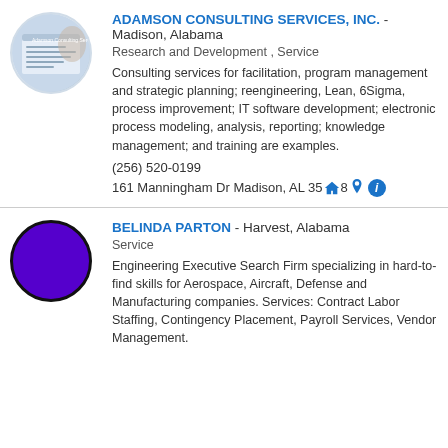[Figure (logo): Adamson Consulting Services circular logo with document/report graphic]
ADAMSON CONSULTING SERVICES, INC. - Madison, Alabama
Research and Development , Service
Consulting services for facilitation, program management and strategic planning; reengineering, Lean, 6Sigma, process improvement; IT software development; electronic process modeling, analysis, reporting; knowledge management; and training are examples.
(256) 520-0199
161 Manningham Dr Madison, AL 35808
[Figure (logo): Belinda Parton purple circular logo/avatar]
BELINDA PARTON - Harvest, Alabama
Service
Engineering Executive Search Firm specializing in hard-to-find skills for Aerospace, Aircraft, Defense and Manufacturing companies. Services: Contract Labor Staffing, Contingency Placement, Payroll Services, Vendor Management.